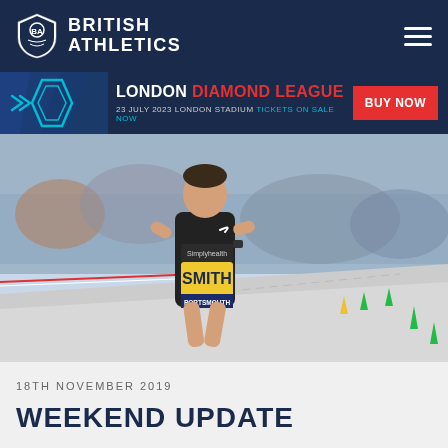British Athletics
[Figure (illustration): Diamond League banner with diamond logo graphic, text 'LONDON DIAMOND LEAGUE 23 JULY 2023 LONDON STADIUM TICKETS ON SALE NOW' and red BUY NOW button]
[Figure (photo): Male runner wearing black Nike vest with yellow race bib reading SMITH PORTSMOUTH, running on road course with crowd in background and yellow/green cones on right]
18TH NOVEMBER 2019
WEEKEND UPDATE